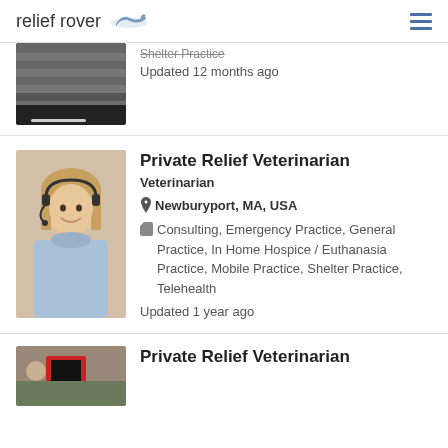relief rover
[Figure (photo): Partial card from previous listing showing a person in striped clothing, partially cut off at top]
Shelter Practice
Updated 12 months ago
[Figure (photo): Profile photo of a woman with blonde hair wearing a headset and light blue hoodie, smiling at camera]
Private Relief Veterinarian
Veterinarian
Newburyport, MA, USA
Consulting, Emergency Practice, General Practice, In Home Hospice / Euthanasia Practice, Mobile Practice, Shelter Practice, Telehealth
Updated 1 year ago
[Figure (photo): Partial profile photo of a person with equipment visible]
Private Relief Veterinarian